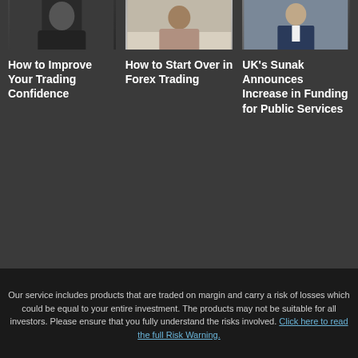[Figure (photo): Three card thumbnails: person in dark clothing, person at light background, man in suit]
How to Improve Your Trading Confidence
How to Start Over in Forex Trading
UK's Sunak Announces Increase in Funding for Public Services
Our service includes products that are traded on margin and carry a risk of losses which could be equal to your entire investment. The products may not be suitable for all investors. Please ensure that you fully understand the risks involved. Click here to read the full Risk Warning.